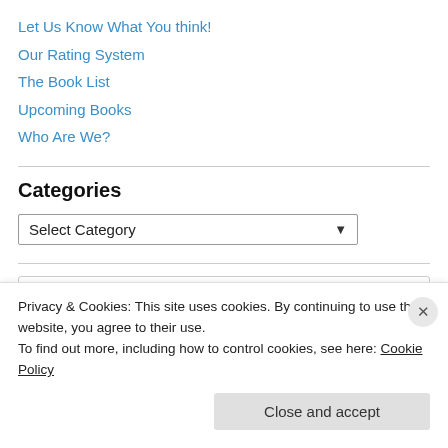Let Us Know What You think!
Our Rating System
The Book List
Upcoming Books
Who Are We?
Categories
Select Category
Search
Privacy & Cookies: This site uses cookies. By continuing to use this website, you agree to their use.
To find out more, including how to control cookies, see here: Cookie Policy
Close and accept